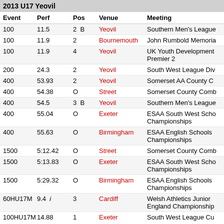2013 U17 Yeovil
| Event | Perf | Pos | Venue | Meeting |
| --- | --- | --- | --- | --- |
| 100 | 11.5 | 2  B | Yeovil | Southern Men's League |
| 100 | 11.9 | 2 | Bournemouth | John Rumbold Memorial |
| 100 | 11.9 | 4 | Yeovil | UK Youth Development Premier 2 |
| 200 | 24.3 | 2 | Yeovil | South West League Div |
| 400 | 53.93 | 2 | Yeovil | Somerset AA County C |
| 400 | 54.38 | O | Street | Somerset County Comb |
| 400 | 54.5 | 3  B | Yeovil | Southern Men's League |
| 400 | 55.04 | O | Exeter | ESAA South West Schools Championships |
| 400 | 55.63 | O | Birmingham | ESAA English Schools Championships |
| 1500 | 5:12.42 | O | Street | Somerset County Comb |
| 1500 | 5:13.83 | O | Exeter | ESAA South West Schools Championships |
| 1500 | 5:29.32 | O | Birmingham | ESAA English Schools Championships |
| 60HU17M | 9.4  i | 3 | Cardiff | Welsh Athletics Junior England Championships |
| 100HU17M | 14.88 | 1 | Exeter | South West League Cup |
| 100HU17M | 15.15  1.3 | O | Exeter | ESAA South West Schools Championships |
| 100HU17M | 15.23  1.2 | O | Birmingham | ESAA English Schools Championships |
| 100HU17M | 15.31  w  2.5 | O | Street | Somerset County Comb |